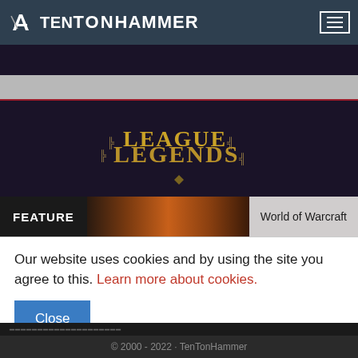TenTonHammer
[Figure (logo): League of Legends logo on dark purple background]
FEATURE   World of Warcraft
Our website uses cookies and by using the site you agree to this. Learn more about cookies.
© 2000 - 2022 · TenTonHammer